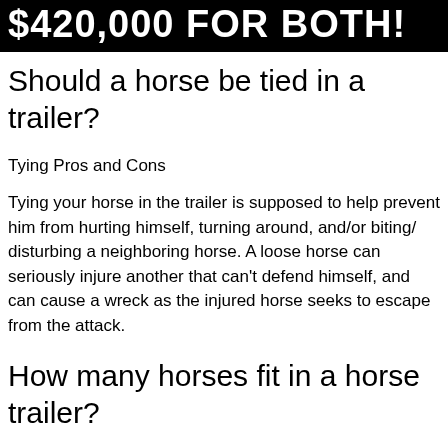$420,000 FOR BOTH!
Should a horse be tied in a trailer?
Tying Pros and Cons
Tying your horse in the trailer is supposed to help prevent him from hurting himself, turning around, and/or biting/ disturbing a neighboring horse. A loose horse can seriously injure another that can't defend himself, and can cause a wreck as the injured horse seeks to escape from the attack.
How many horses fit in a horse trailer?